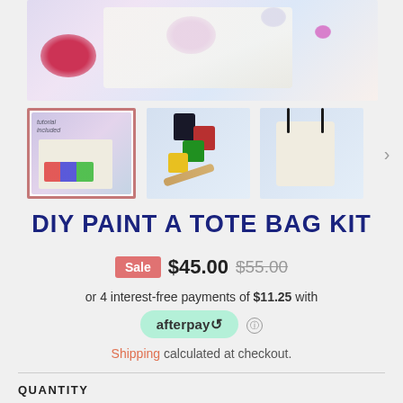[Figure (photo): Hero image of DIY paint a tote bag kit with colorful paint splatters on white background]
[Figure (photo): Thumbnail 1: Kit contents showing tote bag, paint tubes, scissors on colorful splatter background (selected/active)]
[Figure (photo): Thumbnail 2: Multiple paint jars stacked with a paintbrush]
[Figure (photo): Thumbnail 3: Plain white tote bag with black handles on splatter background]
DIY PAINT A TOTE BAG KIT
Sale $45.00 $55.00
or 4 interest-free payments of $11.25 with afterpay
Shipping calculated at checkout.
QUANTITY